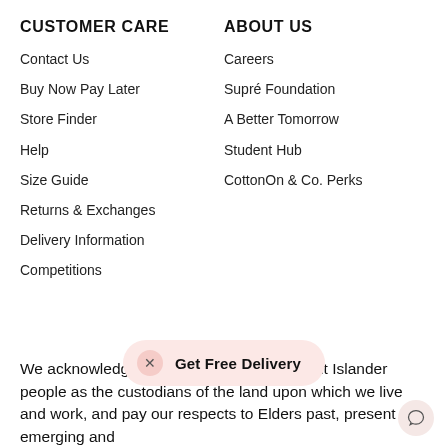CUSTOMER CARE
Contact Us
Buy Now Pay Later
Store Finder
Help
Size Guide
Returns & Exchanges
Delivery Information
Competitions
ABOUT US
Careers
Supré Foundation
A Better Tomorrow
Student Hub
CottonOn & Co. Perks
We acknowledge Aboriginal and Torres Strait Islander people as the custodians of the land upon which we live and work, and pay our respects to Elders past, present and emerging and